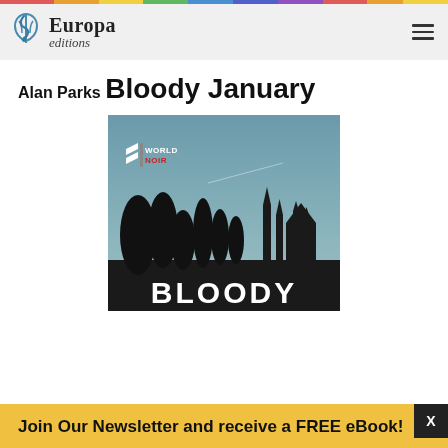Europa editions
Alan Parks
Bloody January
[Figure (photo): Book cover for 'Bloody January' by Alan Parks. Dark silhouette of city skyline with trees and a cathedral. Sky is muted teal/grey. World Noir logo in upper left. Text 'BLOODY' visible at the bottom in large white letters.]
Join Our Newsletter and receive a FREE eBook!